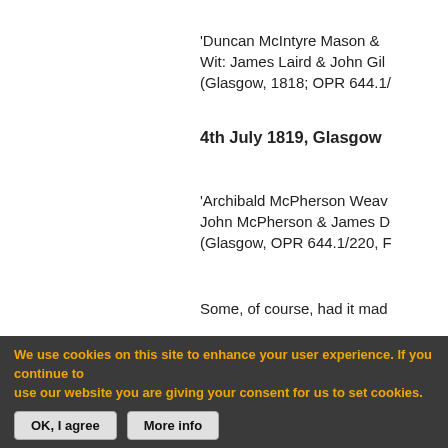'Duncan McIntyre Mason & Wit: James Laird & John Gil (Glasgow, 1818; OPR 644.1/
4th July 1819, Glasgow
'Archibald McPherson Weav John McPherson & James D (Glasgow, OPR 644.1/220, F
Some, of course, had it mad
15th July 1690, Dunfermline
'The 12th day bout nine hou
We use cookies on this site to enhance your user experience. If you continue to use our website you are giving your consent for us to set cookies.
OK, I agree    More info